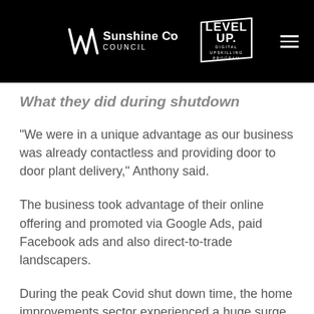[Figure (logo): Sunshine Coast Council logo and Level Up Digital Upskilling Program badge on black header bar with hamburger menu icon]
What they did during shutdown
“We were in a unique advantage as our business was already contactless and providing door to door plant delivery,” Anthony said.
The business took advantage of their online offering and promoted via Google Ads, paid Facebook ads and also direct-to-trade landscapers.
During the peak Covid shut down time, the home improvements sector experienced a huge surge and the